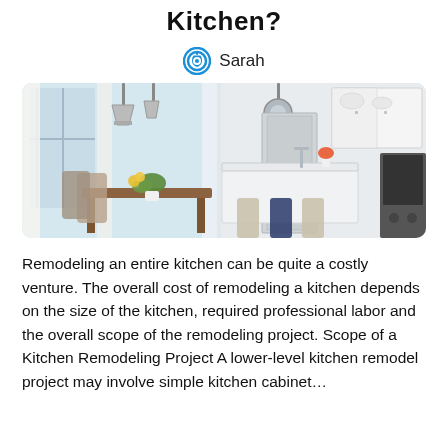Kitchen?
Sarah
[Figure (photo): Bright white kitchen interior showing a dining area with wooden table and wicker chairs on the left, and a large kitchen island with white cabinetry, stainless steel appliances, and pendant lights on the right.]
Remodeling an entire kitchen can be quite a costly venture. The overall cost of remodeling a kitchen depends on the size of the kitchen, required professional labor and the overall scope of the remodeling project. Scope of a Kitchen Remodeling Project A lower-level kitchen remodel project may involve simple kitchen cabinet…